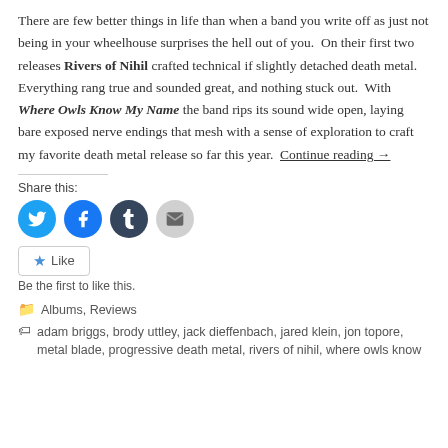There are few better things in life than when a band you write off as just not being in your wheelhouse surprises the hell out of you.  On their first two releases Rivers of Nihil crafted technical if slightly detached death metal.  Everything rang true and sounded great, and nothing stuck out.  With Where Owls Know My Name the band rips its sound wide open, laying bare exposed nerve endings that mesh with a sense of exploration to craft my favorite death metal release so far this year.  Continue reading →
Share this:
[Figure (infographic): Social sharing icons: Twitter (blue), Facebook (blue), Tumblr (dark), Email (gray)]
Like
Be the first to like this.
Albums, Reviews
adam briggs, brody uttley, jack dieffenbach, jared klein, jon topore, metal blade, progressive death metal, rivers of nihil, where owls know